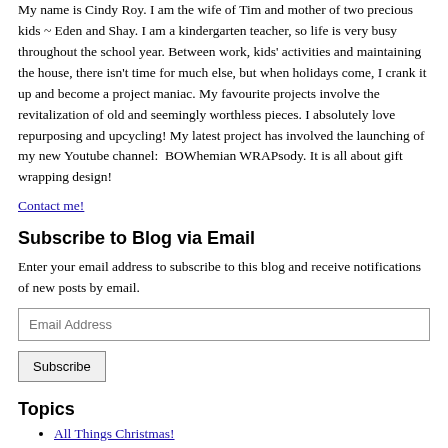My name is Cindy Roy. I am the wife of Tim and mother of two precious kids ~ Eden and Shay. I am a kindergarten teacher, so life is very busy throughout the school year. Between work, kids' activities and maintaining the house, there isn't time for much else, but when holidays come, I crank it up and become a project maniac. My favourite projects involve the revitalization of old and seemingly worthless pieces. I absolutely love repurposing and upcycling! My latest project has involved the launching of my new Youtube channel:  BOWhemian WRAPsody. It is all about gift wrapping design!
Contact me!
Subscribe to Blog via Email
Enter your email address to subscribe to this blog and receive notifications of new posts by email.
Topics
All Things Christmas!